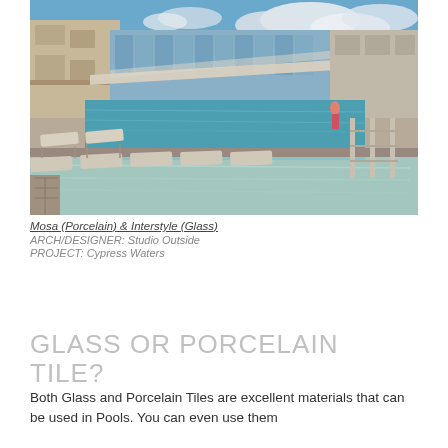[Figure (photo): Outdoor pool area with lounge chairs partially submerged in shallow water, a larger rectangular pool behind, and a modern hotel/resort building with glass facades in the background under a partly cloudy blue sky.]
Mosa (Porcelain) & Interstyle (Glass)
ARCH/DESIGNER: Studio Outside
PROJECT: Cypress Waters
GLASS OR PORCELAIN TILE?
Both Glass and Porcelain Tiles are excellent materials that can be used in Pools. You can even use them